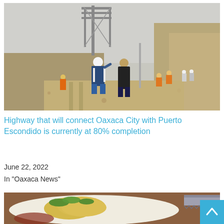[Figure (photo): Construction site photo showing workers on a dirt road with scaffolding and a tower structure in foggy background, in a mountainous terrain being cleared for a highway]
Highway that will connect Oaxaca City with Puerto Escondido is currently at 80% completion
June 22, 2022
In "Oaxaca News"
[Figure (photo): Photo of food on a plate showing what appears to be tamales or wrapped food items with greens and a knife visible on the right side]